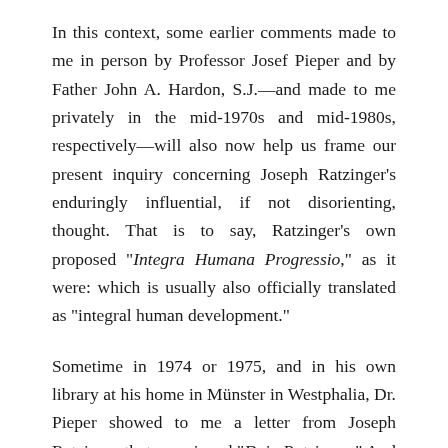In this context, some earlier comments made to me in person by Professor Josef Pieper and by Father John A. Hardon, S.J.—and made to me privately in the mid-1970s and mid-1980s, respectively—will also now help us frame our present inquiry concerning Joseph Ratzinger's enduringly influential, if not disorienting, thought. That is to say, Ratzinger's own proposed "Integra Humana Progressio," as it were: which is usually also officially translated as "integral human development."
Sometime in 1974 or 1975, and in his own library at his home in Münster in Westphalia, Dr. Pieper showed to me a letter from Joseph Ratzinger that was signed "Dein Ratzinger." And then Dr. Pieper told me that there was a story behind that letter. It had to do with Father Joseph